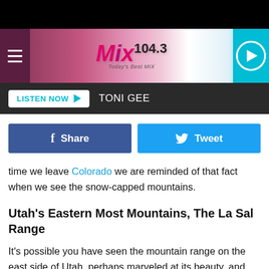[Figure (screenshot): Mix 104.3 radio station website header with logo, hamburger menu, and play button on a pink/purple gradient background]
LISTEN NOW ▶  TONI GEE
[Figure (infographic): Facebook Share button (blue) and Twitter Tweet button (cyan) side by side]
time we leave Colorado we are reminded of that fact when we see the snow-capped mountains.
Utah's Eastern Most Mountains, The La Sal Range
It's possible you have seen the mountain range on the east side of Utah, perhaps marveled at its beauty, and wondered about these towering peaks. As you cross over into Utah from Colorado, you can see the snowcapped mountains to the southwest from your position on Interstate 70